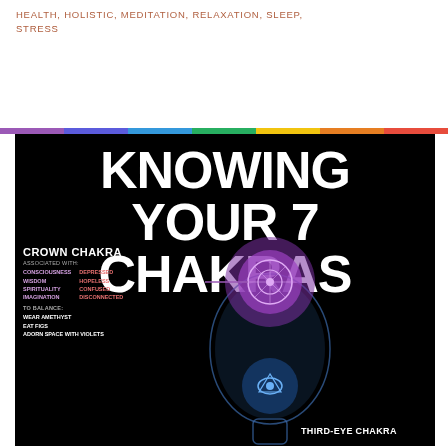HEALTH, HOLISTIC, MEDITATION, RELAXATION, SLEEP, STRESS
[Figure (infographic): Infographic titled 'KNOWING YOUR 7 CHAKRAS' on a black background. Shows a human head silhouette with chakra symbols. Includes details for Crown Chakra (associated with: consciousness, wisdom, spirituality, imagination; when unbalanced: depressed, hopeless, confused, disconnected; to balance: wear amethyst, eat figs, adorn space with violets) and partially visible Third-Eye Chakra label at bottom right. A rainbow colored bar appears at the top of the infographic section.]